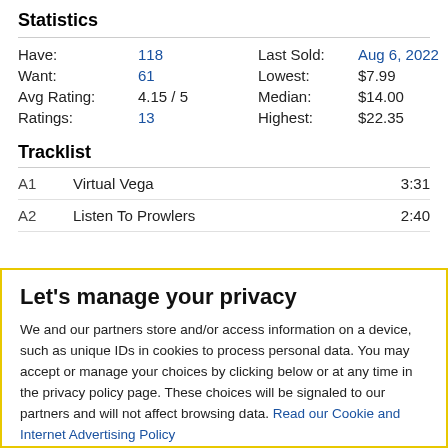Statistics
| Have: | 118 | Last Sold: | Aug 6, 2022 |
| Want: | 61 | Lowest: | $7.99 |
| Avg Rating: | 4.15 / 5 | Median: | $14.00 |
| Ratings: | 13 | Highest: | $22.35 |
Tracklist
| A1 | Virtual Vega | 3:31 |
| A2 | Listen To Prowlers | 2:40 |
Let's manage your privacy
We and our partners store and/or access information on a device, such as unique IDs in cookies to process personal data. You may accept or manage your choices by clicking below or at any time in the privacy policy page. These choices will be signaled to our partners and will not affect browsing data. Read our Cookie and Internet Advertising Policy